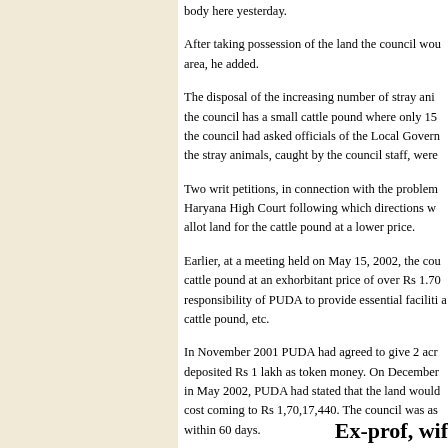body here yesterday.
After taking possession of the land the council wou area, he added.
The disposal of the increasing number of stray ani the council has a small cattle pound where only 15 the council had asked officials of the Local Govern the stray animals, caught by the council staff, were
Two writ petitions, in connection with the problem Haryana High Court following which directions w allot land for the cattle pound at a lower price.
Earlier, at a meeting held on May 15, 2002, the cou cattle pound at an exhorbitant price of over Rs 1.70 responsibility of PUDA to provide essential faciliti a cattle pound, etc.
In November 2001 PUDA had agreed to give 2 acr deposited Rs 1 lakh as token money. On December in May 2002, PUDA had stated that the land would cost coming to Rs 1,70,17,440. The council was as within 60 days.
Ex-prof, wif